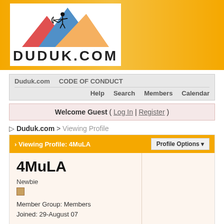[Figure (logo): Duduk.com logo with archer silhouette on mountain background with red, blue, orange shapes]
Duduk.com  CODE OF CONDUCT  Help  Search  Members  Calendar
Welcome Guest ( Log In | Register )
▷ Duduk.com > Viewing Profile
Viewing Profile: 4MuLA
4MuLA
Newbie
Member Group: Members
Joined: 29-August 07
Active Stats
Communicate
User's
No Information